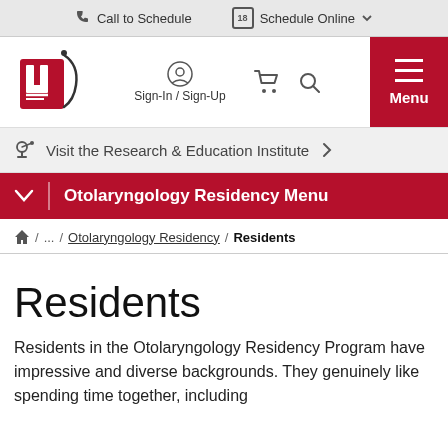Call to Schedule | Schedule Online
[Figure (logo): University Hospitals UH logo in red with stylized UH letters]
Sign-In / Sign-Up
Menu
Visit the Research & Education Institute
Otolaryngology Residency Menu
/ ... / Otolaryngology Residency / Residents
Residents
Residents in the Otolaryngology Residency Program have impressive and diverse backgrounds. They genuinely like spending time together, including